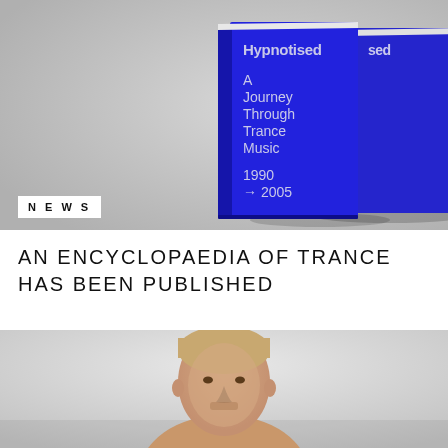[Figure (photo): Two blue hardcover books standing upright against a grey background. The front book cover reads 'Hypnotised A Journey Through Trance Music 1990 → 2005' in white sans-serif text on a bright blue background.]
NEWS
AN ENCYCLOPAEDIA OF TRANCE HAS BEEN PUBLISHED
[Figure (photo): Portrait photo of a young man with short blonde hair and stubble, looking directly at the camera against a light grey background.]